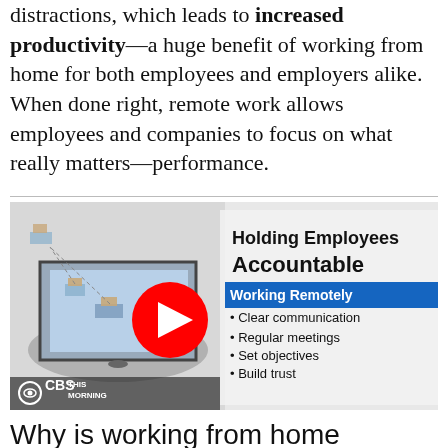distractions, which leads to increased productivity—a huge benefit of working from home for both employees and employers alike. When done right, remote work allows employees and companies to focus on what really matters—performance.
[Figure (screenshot): YouTube video thumbnail for 'Holding Employees Accountable Working Remotely' from CBS This Morning, showing an isometric tablet illustration with remote workers and a YouTube play button overlay. List items visible: Clear communication, Regular meetings, Set objectives, Build trust.]
Why is working from home not good?